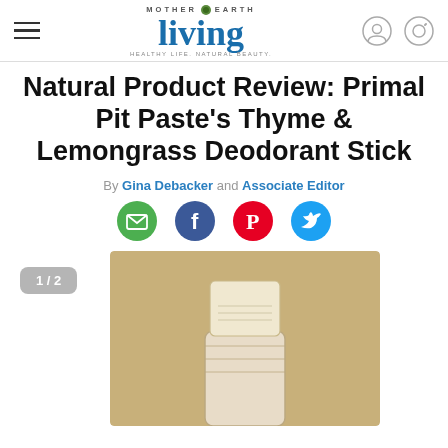Mother Earth Living — HEALTHY LIFE. NATURAL BEAUTY.
Natural Product Review: Primal Pit Paste's Thyme & Lemongrass Deodorant Stick
By Gina Debacker and Associate Editor
[Figure (infographic): Social share icons: email (green), facebook (blue), pinterest (red), twitter (blue)]
[Figure (photo): Photo of a deodorant stick product (Primal Pit Paste Thyme & Lemongrass) shown partially raised from its container, on a tan/beige background. Slide counter overlay shows 1/2.]